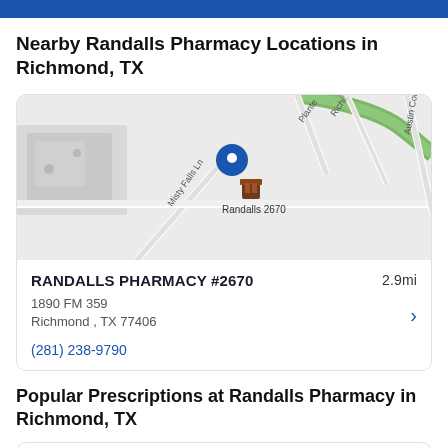Nearby Randalls Pharmacy Locations in Richmond, TX
[Figure (map): Google Maps screenshot showing Randalls 2670 location pin in Richmond TX, with surrounding streets including Misty Falls Ln, Plante, Richi, and Austin Colony Dr]
RANDALLS PHARMACY #2670    2.9mi
1890 FM 359
Richmond , TX 77406
(281) 238-9790
Popular Prescriptions at Randalls Pharmacy in Richmond, TX
Losartan Potassium    $8.17